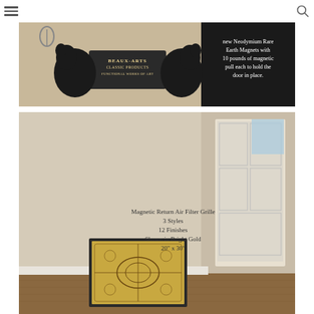Navigation bar with hamburger menu and search icon
[Figure (photo): Beaux-Arts Classic Products banner image showing griffins flanking a logo. Text overlay reads: 'replaced them with all new Neodymium Rare Earth Magnets with 10 pounds of magnetic pull each to hold the door in place.']
[Figure (photo): Photo of a hallway with a decorative Magnetic Return Air Filter Grille mounted on the wall. Text overlay reads: 'Magnetic Return Air Filter Grille / 3 Styles / 12 Finishes / Shown in Bright Gold / 20" x 30"'. The grille is ornate gold-patterned, 20x30 inches.]